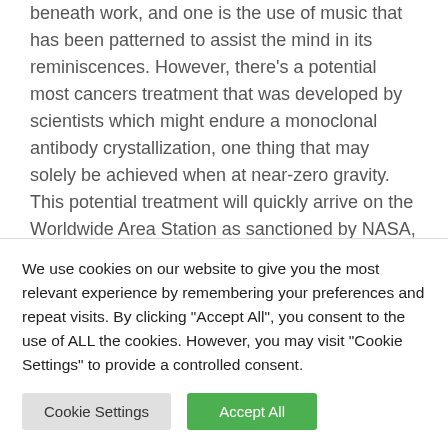beneath work, and one is the use of music that has been patterned to assist the mind in its reminiscences. However, there's a potential most cancers treatment that was developed by scientists which might endure a monoclonal antibody crystallization, one thing that may solely be achieved when at near-zero gravity. This potential treatment will quickly arrive on the Worldwide Area Station as sanctioned by NASA, aboard the SpaceX Cargo Dragon. The improvements of well being are rising and it's due
We use cookies on our website to give you the most relevant experience by remembering your preferences and repeat visits. By clicking "Accept All", you consent to the use of ALL the cookies. However, you may visit "Cookie Settings" to provide a controlled consent.